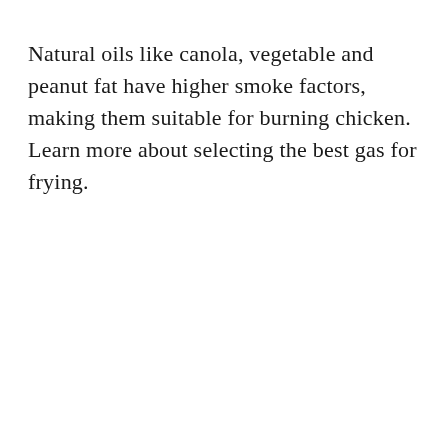Natural oils like canola, vegetable and peanut fat have higher smoke factors, making them suitable for burning chicken. Learn more about selecting the best gas for frying.